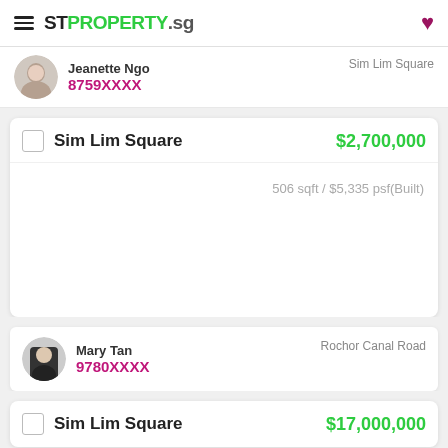STPROPERTY.sg
Jeanette Ngo
8759XXXX
Sim Lim Square
Sim Lim Square
$2,700,000
506 sqft / $5,335 psf(Built)
Mary Tan
9780XXXX
Rochor Canal Road
Sim Lim Square
$17,000,000